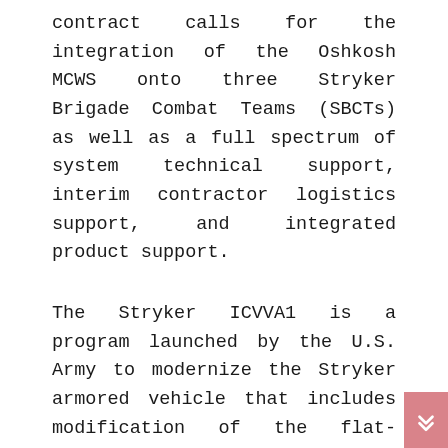contract calls for the integration of the Oshkosh MCWS onto three Stryker Brigade Combat Teams (SBCTs) as well as a full spectrum of system technical support, interim contractor logistics support, and integrated product support.
The Stryker ICVVA1 is a program launched by the U.S. Army to modernize the Stryker armored vehicle that includes modification of the flat-bottomed hull into a double V-hull to increase protection against IEDs (Improvised Explosive Devices), following the lessons learned by U.S. troops deployed in Afghanistan and Iraq. Other improvements include a new 910 amp alternator capable of supporting electrical power required for future network upgrades, a new power distribution panel, new